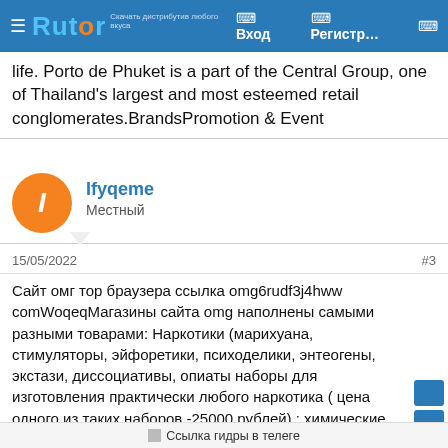Rutor — Вход — Регистр...
life. Porto de Phuket is a part of the Central Group, one of Thailand's largest and most esteemed retail conglomerates.BrandsPromotion & Event
Ifyqeme
Местный
15/05/2022
#3
Сайт омг тор браузера ссылка omg6rudf3j4hww comWoqeqМагазины сайта omg наполнены самыми разными товарами: Наркотики (марихуана, стимуляторы, эйфоретики, психоделики, энтеогены, экстази, диссоциативы, опиаты наборы для изготовления практически любого наркотика ( цена одного из таких наборов -25000 рублей) ; химические реактивы/конструкторы; аптечные препараты; цифровые товары; документы; SIM-карты; фальшивые. После покупки товара вам необходимо…
Ссылка гидры в телеге